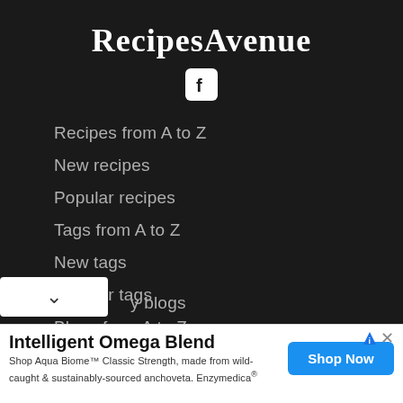RecipesAvenue
[Figure (logo): Facebook logo icon in white on white rounded square background]
Recipes from A to Z
New recipes
Popular recipes
Tags from A to Z
New tags
Popular tags
Blogs from A to Z
y blogs
[Figure (screenshot): Advertisement: Intelligent Omega Blend - Shop Aqua Biome Classic Strength, made from wild-caught & sustainably-sourced anchoveta. Enzymedica® with Shop Now button]